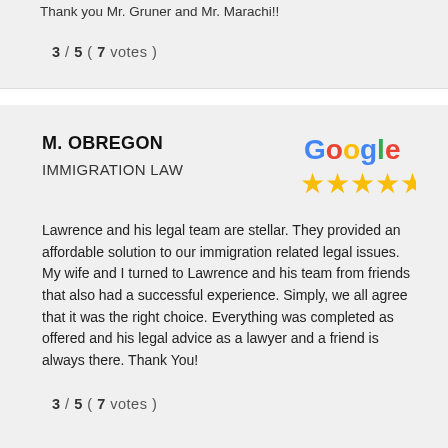Thank you Mr. Gruner and Mr. Marachi!!
3 / 5 ( 7 votes )
M. OBREGON
IMMIGRATION LAW
[Figure (logo): Google logo with five gold stars representing a 5-star rating]
Lawrence and his legal team are stellar. They provided an affordable solution to our immigration related legal issues. My wife and I turned to Lawrence and his team from friends that also had a successful experience. Simply, we all agree that it was the right choice. Everything was completed as offered and his legal advice as a lawyer and a friend is always there. Thank You!
3 / 5 ( 7 votes )